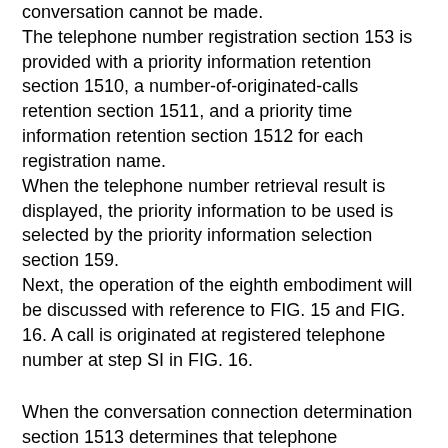conversation cannot be made. The telephone number registration section 153 is provided with a priority information retention section 1510, a number-of-originated-calls retention section 1511, and a priority time information retention section 1512 for each registration name. When the telephone number retrieval result is displayed, the priority information to be used is selected by the priority information selection section 159. Next, the operation of the eighth embodiment will be discussed with reference to FIG. 15 and FIG. 16. A call is originated at registered telephone number at step SI in FIG. 16.
When the conversation connection determination section 1513 determines that telephone conversation resulted in failure (No at step S2 in FIG. 16) , the priority change and re-calling section 1514 determines whether or not a telephone number assigned a next lower priority to the telephone number used for calling is registered. If the telephone number assigned a next lower priority is registered (Yes at step S4 in FIG. 16), the priority change and re-calling section 1514